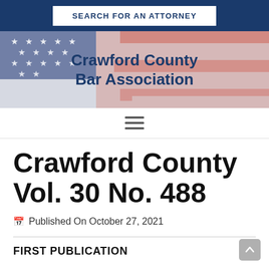SEARCH FOR AN ATTORNEY
[Figure (illustration): Crawford County Bar Association banner with American flag background]
Crawford County Bar Association
[Figure (other): Hamburger menu icon with three horizontal lines]
Crawford County Vol. 30 No. 488
Published On October 27, 2021
FIRST PUBLICATION